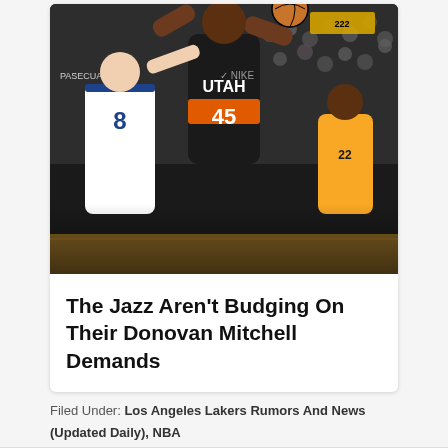[Figure (photo): Basketball action photo showing a Utah Jazz player in black uniform going up for a shot, with a Golden State Warriors player in white uniform (number 8, Pasecua) defending, and another Jazz player in background. Arena crowd visible behind.]
The Jazz Aren't Budging On Their Donovan Mitchell Demands
Filed Under: Los Angeles Lakers Rumors And News (Updated Daily), NBA
Tagged With: Los Angeles Lakers